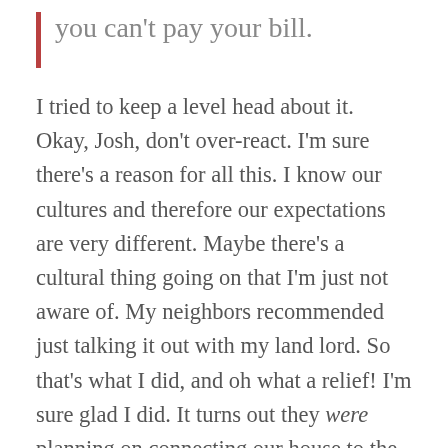you can't pay your bill.
I tried to keep a level head about it. Okay, Josh, don't over-react. I'm sure there's a reason for all this. I know our cultures and therefore our expectations are very different. Maybe there's a cultural thing going on that I'm just not aware of. My neighbors recommended just talking it out with my land lord. So that's what I did, and oh what a relief! I'm sure glad I did. It turns out they were planning on connecting our house to the new line all along. Apparently they just had to wait for the rain to stop so they could glue the pipes together. Why